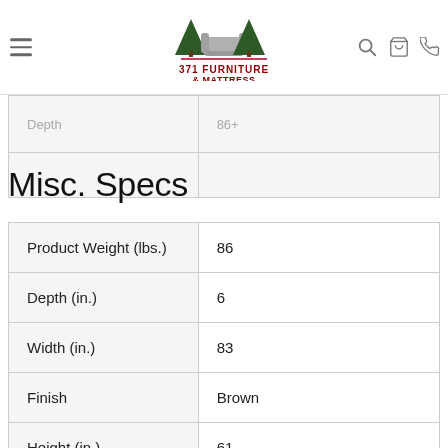371 Furniture & Mattress — navigation bar with menu, logo, search, cart, phone icons
| Depth | 86+ |
| --- | --- |
| Depth | 86+ |
Misc. Specs
| Attribute | Value |
| --- | --- |
| Product Weight (lbs.) | 86 |
| Depth (in.) | 6 |
| Width (in.) | 83 |
| Finish | Brown |
| Height (in.) | 61 |